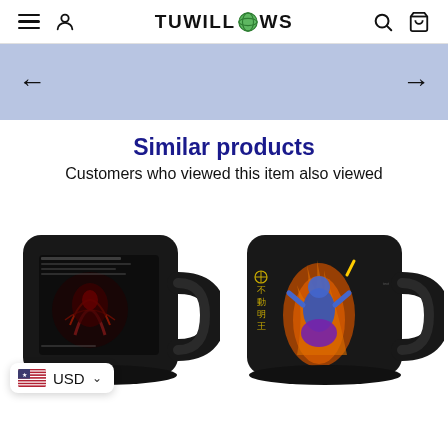TUWILLOWS — navigation header with menu, user, search, and cart icons
[Figure (screenshot): Light blue carousel/slider banner with left and right navigation arrows]
Similar products
Customers who viewed this item also viewed
[Figure (photo): Black ceramic mug with fantasy art showing a demon/monster scene and text, viewed from the back/side]
[Figure (photo): Black ceramic mug with colorful Japanese-style deity figure in flames with Chinese/Japanese characters, viewed from the front]
USD